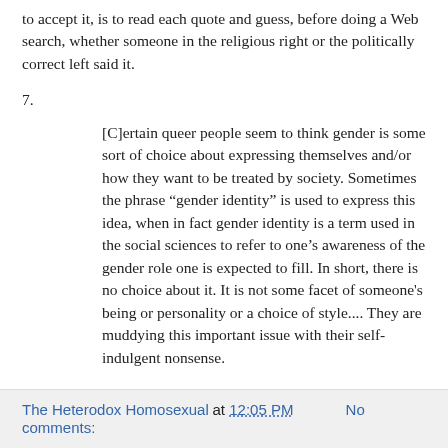to accept it, is to read each quote and guess, before doing a Web search, whether someone in the religious right or the politically correct left said it.
7.
[C]ertain queer people seem to think gender is some sort of choice about expressing themselves and/or how they want to be treated by society. Sometimes the phrase “gender identity” is used to express this idea, when in fact gender identity is a term used in the social sciences to refer to one’s awareness of the gender role one is expected to fill. In short, there is no choice about it. It is not some facet of someone's being or personality or a choice of style.... They are muddying this important issue with their self-indulgent nonsense.
The Heterodox Homosexual at 12:05 PM    No comments: